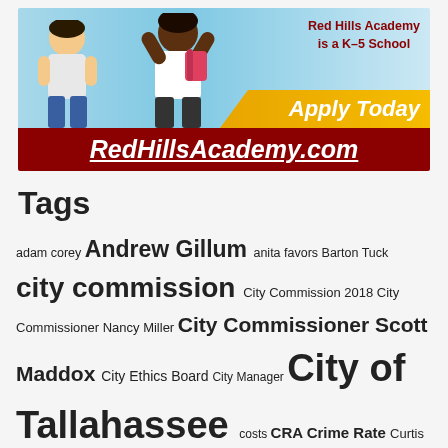[Figure (illustration): Red Hills Academy advertisement banner showing two children with backpacks. Top right text reads 'Red Hills Academy is a K-5 School'. Orange ribbon with 'Apply Today'. Dark red bottom bar with 'RedHillsAcademy.com' in white italic underlined text.]
Tags
adam corey Andrew Gillum anita favors Barton Tuck city commission City Commission 2018 City Commissioner Nancy Miller City Commissioner Scott Maddox City Ethics Board City Manager City of Tallahassee costs CRA Crime Rate Curtis Richardson Debbie Lightsey Dr. Erwin Jackson Dustin Daniels electric fund ethics Ethics Panel Florida Governor 2018 FSU FSU Football going green jackie Pons Killearn Country Club Killearn estates Leon County Leon County Commission Leon County Employment Leon county jobs Leon County School Board Mayor andrew gillum Mayor